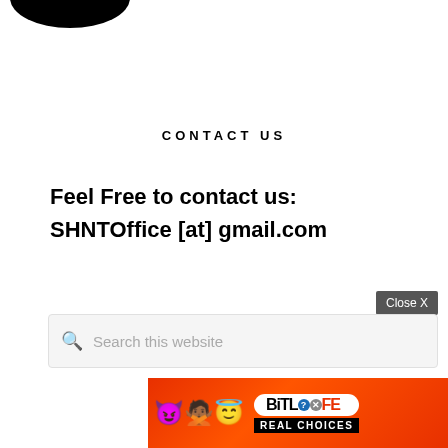[Figure (logo): Partial black circular logo at top-left, cropped at top edge]
CONTACT US
Feel Free to contact us:
SHNTOffice [at] gmail.com
[Figure (screenshot): Search bar with placeholder text 'Search this website' and a 'Close X' button]
[Figure (infographic): BitLife advertisement banner with emoji characters and 'REAL CHOICES' text on red/orange background]